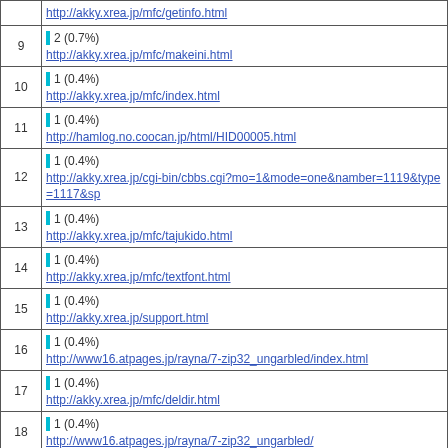| # | Count / URL |
| --- | --- |
| 9 | 2 (0.7%)
http://akky.xrea.jp/mfc/makeini.html |
| 10 | 1 (0.4%)
http://akky.xrea.jp/mfc/index.html |
| 11 | 1 (0.4%)
http://hamlog.no.coocan.jp/html/HID00005.html |
| 12 | 1 (0.4%)
http://akky.xrea.jp/cgi-bin/cbbs.cgi?mo=1&mode=one&namber=1119&type=1117&sp |
| 13 | 1 (0.4%)
http://akky.xrea.jp/mfc/tajukido.html |
| 14 | 1 (0.4%)
http://akky.xrea.jp/mfc/textfont.html |
| 15 | 1 (0.4%)
http://akky.xrea.jp/support.html |
| 16 | 1 (0.4%)
http://www16.atpages.jp/rayna/7-zip32_ungarbled/index.html |
| 17 | 1 (0.4%)
http://akky.xrea.jp/mfc/deldir.html |
| 18 | 1 (0.4%)
http://www16.atpages.jp/rayna/7-zip32_ungarbled/ |
| 19 | 1 (0.4%)
http://www.csdinc.co.jp/archiver/lib/7-zip32.html |
| 20 | 1 (0.4%)
http://akky.xrea.jp/cgi-bin/cbbs.cgi?mode=man |